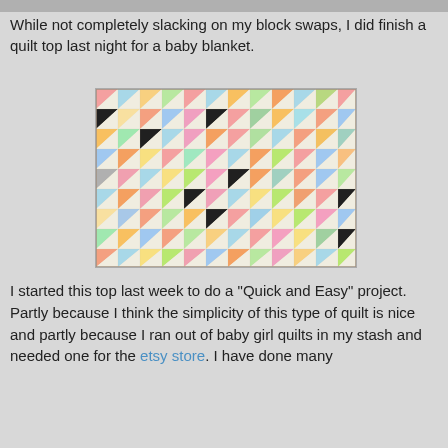While not completely slacking on my block swaps, I did finish a quilt top last night for a baby blanket.
[Figure (photo): A colorful patchwork quilt top laid flat, made of half-square triangle blocks in various pastel and bright colors on a cream background, arranged in a diagonal pattern.]
I started this top last week to do a "Quick and Easy" project. Partly because I think the simplicity of this type of quilt is nice and partly because I ran out of baby girl quilts in my stash and needed one for the etsy store. I have done many